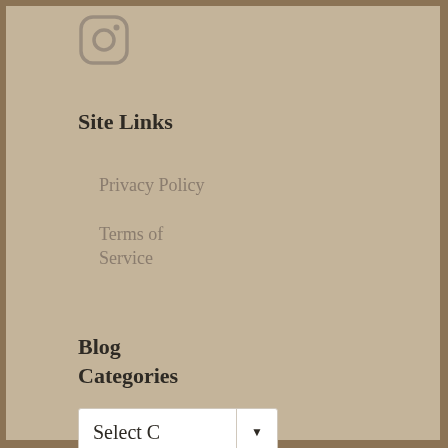[Figure (logo): Instagram icon - rounded square outline with camera symbol]
Site Links
Privacy Policy
Terms of Service
Blog Categories
[Figure (other): Dropdown selector widget labeled 'Select C' with a down arrow]